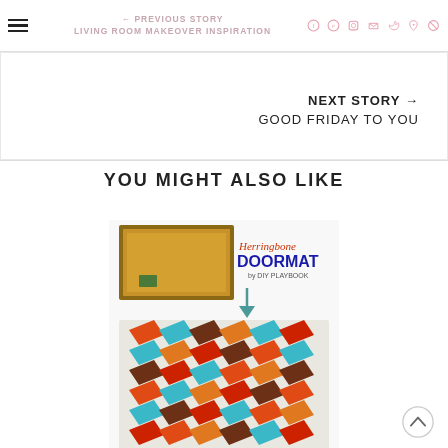← PREVIOUS STORY | LIVING ROOM MAKEOVER INSPIRATION | [social icons]
NEXT STORY → GOOD FRIDAY TO YOU
YOU MIGHT ALSO LIKE
[Figure (photo): Herringbone Doormat by DIY Playbook — shows a plain coir mat above and a colorful herringbone-painted doormat below in orange, teal, brown, and red chevron pattern]